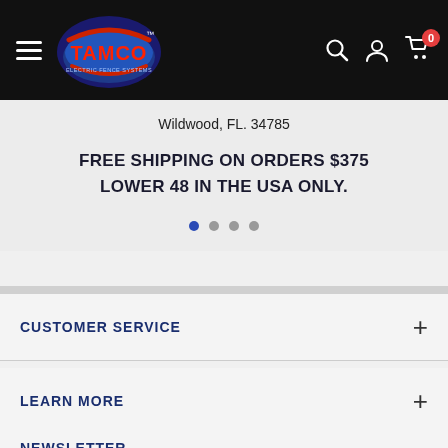TAMCO — Navigation bar with logo, hamburger menu, search, account, and cart (0 items)
Wildwood, FL. 34785
FREE SHIPPING ON ORDERS $375 LOWER 48 IN THE USA ONLY.
[Figure (other): Carousel pagination dots — 4 dots, first dot active (blue), others grey]
CUSTOMER SERVICE
LEARN MORE
NEWSLETTER